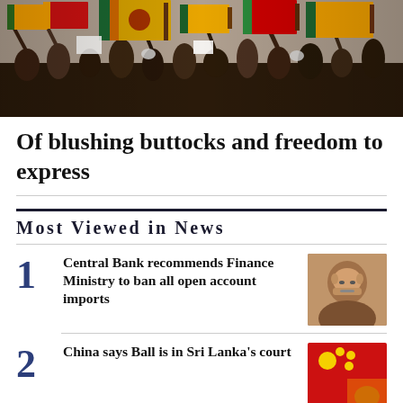[Figure (photo): Crowd of protesters waving Sri Lankan flags, some people wearing masks, colorful scene with red, yellow, green flags]
Of blushing buttocks and freedom to express
Most Viewed in News
1 Central Bank recommends Finance Ministry to ban all open account imports
2 China says Ball is in Sri Lanka's court
3 'GotaGoHome' France activist